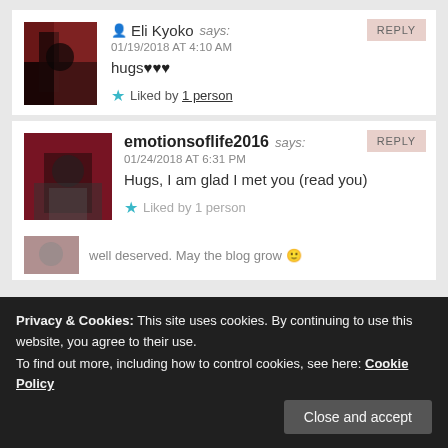REPLY
Eli Kyoko says: 01/19/2018 AT 4:10 AM hugs♥♥♥
Liked by 1 person
REPLY
emotionsoflife2016 says: 01/24/2018 AT 6:31 PM Hugs, I am glad I met you (read you)
Liked by 1 person
well deserved. May the blog grow 🙂
Privacy & Cookies: This site uses cookies. By continuing to use this website, you agree to their use. To find out more, including how to control cookies, see here: Cookie Policy
Close and accept